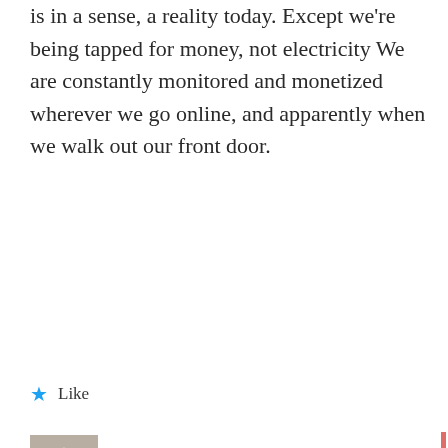is in a sense, a reality today. Except we're being tapped for money, not electricity We are constantly monitored and monetized wherever we go online, and apparently when we walk out our front door.
★ Like
[Figure (photo): Avatar/profile image thumbnail showing a dark figure with an upward arrow, black and white photo style]
Ritchie Roesch · February 16, 2020
Whether or not you agree with it, there's no expectation of privacy in public in America and many other countries. That's the way it is, for better or worse (probably worse). You